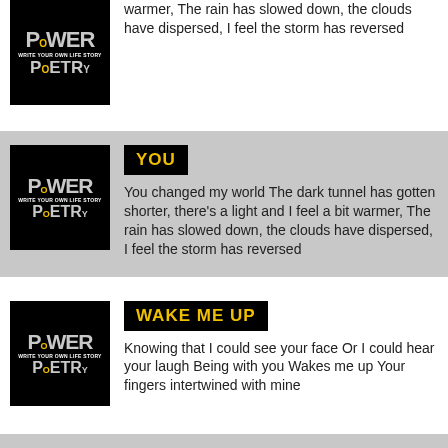warmer,  The rain has slowed down, the clouds have dispersed, I feel the storm has reversed
[Figure (illustration): Power of Poetry book cover on black background]
YOU
You changed my world  The dark tunnel has gotten shorter, there's a light and I feel a bit warmer,  The rain has slowed down, the clouds have dispersed, I feel the storm has reversed
[Figure (illustration): Power of Poetry book cover on black background]
WAKE ME UP
Knowing that I could see your face Or I could hear your laugh Being with you Wakes me up Your fingers intertwined with mine